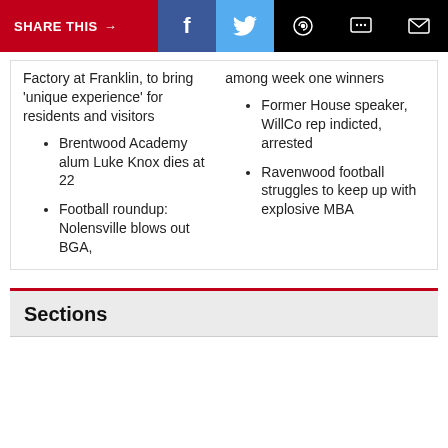SHARE THIS → f (twitter) (whatsapp) (message) (email)
Factory at Franklin, to bring 'unique experience' for residents and visitors
Brentwood Academy alum Luke Knox dies at 22
Football roundup: Nolensville blows out BGA,
among week one winners
Former House speaker, WillCo rep indicted, arrested
Ravenwood football struggles to keep up with explosive MBA
Sections